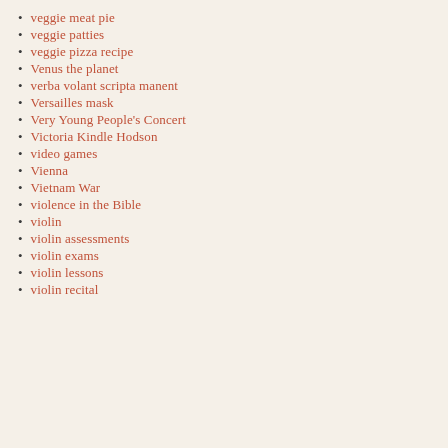veggie meat pie
veggie patties
veggie pizza recipe
Venus the planet
verba volant scripta manent
Versailles mask
Very Young People's Concert
Victoria Kindle Hodson
video games
Vienna
Vietnam War
violence in the Bible
violin
violin assessments
violin exams
violin lessons
violin recital